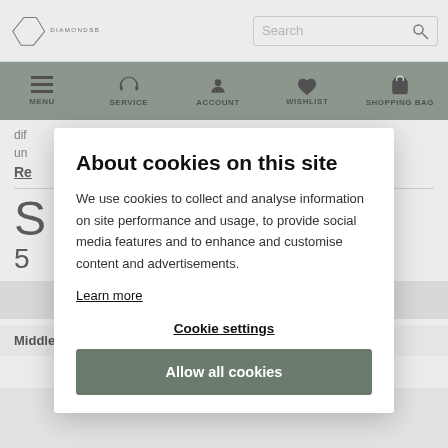DIAMONDSBYME | Search
[Figure (screenshot): Navigation bar with icons: MENU (hamburger), SERVICE (headphones), ACCOUNT (person), WISHLIST (heart), SHOPPING BAG (bag)]
dif
un
Re
S
5
About cookies on this site
We use cookies to collect and analyse information on site performance and usage, to provide social media features and to enhance and customise content and advertisements.
Learn more
Cookie settings
Allow all cookies
| Middle part | White gold, 14 Carat |
| --- | --- |